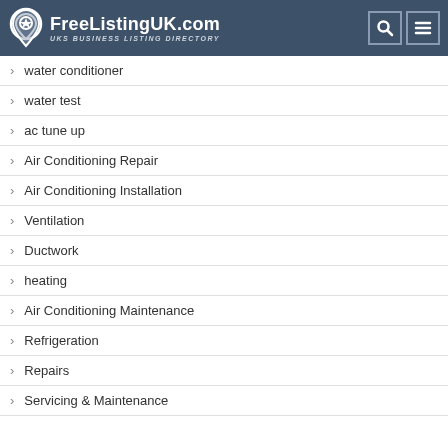FreeListingUK.com — UKs Business Listing Directory
water conditioner
water test
ac tune up
Air Conditioning Repair
Air Conditioning Installation
Ventilation
Ductwork
heating
Air Conditioning Maintenance
Refrigeration
Repairs
Servicing & Maintenance